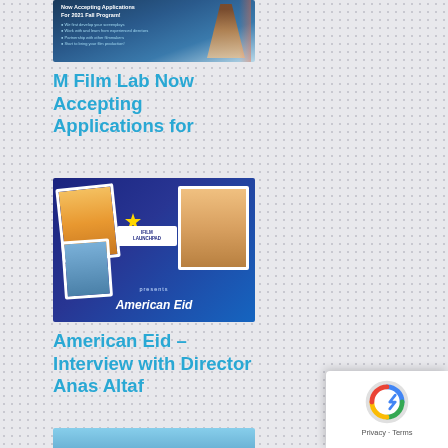[Figure (photo): Top promotional banner image with dark blue background, text about accepting applications for 2021 Fall Program with bullet points and a triangular/architectural figure on the right]
M Film Lab Now Accepting Applications for
[Figure (photo): Promotional image for 'American Eid' on dark blue background with gold stars, polaroid-style photos of people, and script text reading 'American Eid' with LAUNCHPAD PRESENTS branding]
American Eid – Interview with Director Anas Altaf
[Figure (photo): Photo of a person in dark clothing with red accent standing on a rooftop or overlook with a cityscape behind them including a golden dome structure (Dome of the Rock, Jerusalem)]